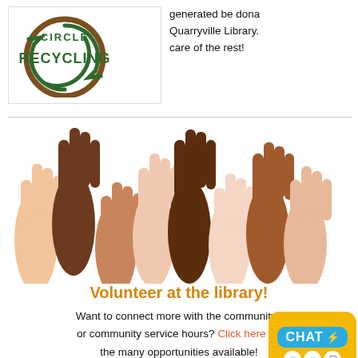[Figure (logo): Circle Recycling logo — brown circle outline with green text RECYCLING and recycling arrows symbol]
generated be donated to the Quarryville Library. We take care of the rest!
[Figure (illustration): Diverse raised hands illustration — multiple hands of various skin tones raised up against white background, volunteering imagery]
Volunteer at the library!
Want to connect more with the community? Need or community service hours? Click here for the many opportunities available!